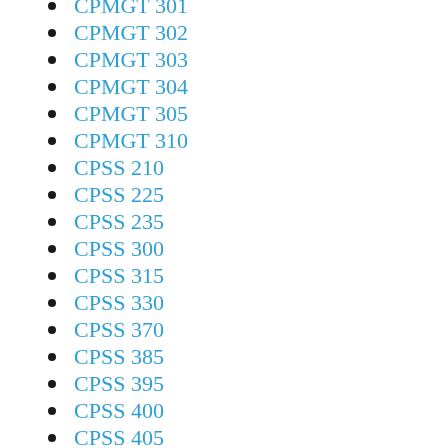CPMGT 301
CPMGT 302
CPMGT 303
CPMGT 304
CPMGT 305
CPMGT 310
CPSS 210
CPSS 225
CPSS 235
CPSS 300
CPSS 315
CPSS 330
CPSS 370
CPSS 385
CPSS 395
CPSS 400
CPSS 405